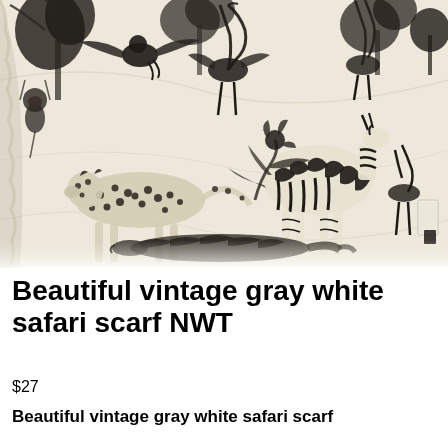[Figure (photo): A photo of a vintage scarf with a black and white safari animal print featuring zebras, flamingos, cheetahs, crocodiles, and tropical foliage on a cream/off-white background. The fabric is draped and folded showing the pattern detail.]
Beautiful vintage gray white safari scarf NWT
$27
Beautiful vintage gray white safari scarf